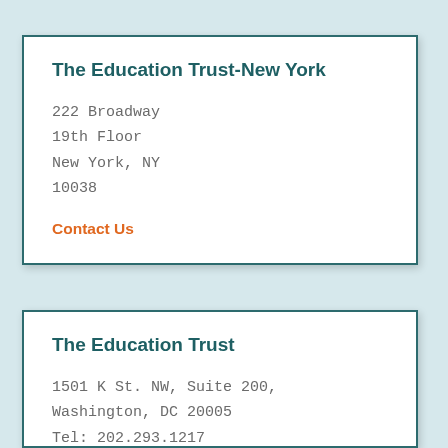The Education Trust-New York
222 Broadway
19th Floor
New York, NY
10038
Contact Us
The Education Trust
1501 K St. NW, Suite 200, Washington, DC 20005
Tel: 202.293.1217